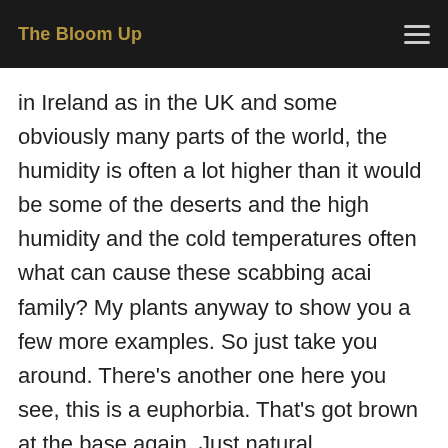The Bloom Up
in Ireland as in the UK and some obviously many parts of the world, the humidity is often a lot higher than it would be some of the deserts and the high humidity and the cold temperatures often what can cause these scabbing acai family? My plants anyway to show you a few more examples. So just take you around. There's another one here you see, this is a euphorbia. That's got brown at the base again. Just natural